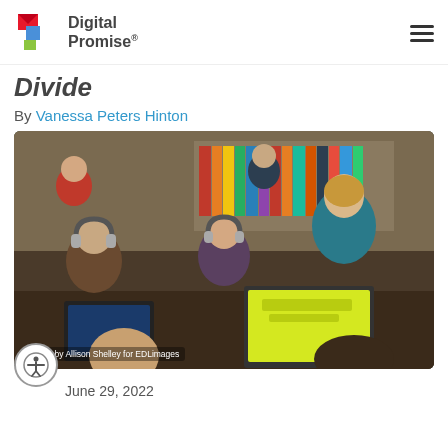Digital Promise
Divide
By Vanessa Peters Hinton
[Figure (photo): Classroom scene with a teacher leaning over to help students working on laptops; children wearing headphones in a busy elementary school classroom. Photo credit: Photo by Allison Shelley for EDLimages]
Photo by Allison Shelley for EDLimages
June 29, 2022